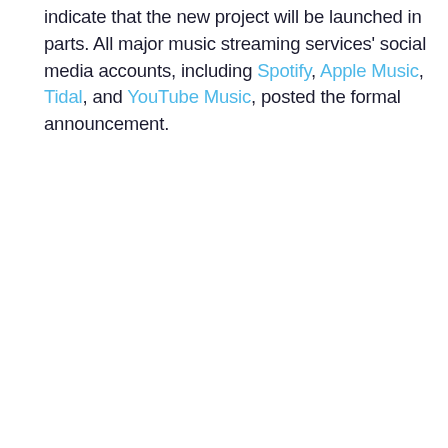indicate that the new project will be launched in parts. All major music streaming services' social media accounts, including Spotify, Apple Music, Tidal, and YouTube Music, posted the formal announcement.